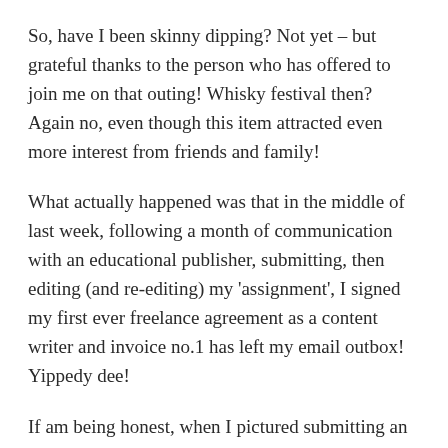So, have I been skinny dipping? Not yet – but grateful thanks to the person who has offered to join me on that outing! Whisky festival then? Again no, even though this item attracted even more interest from friends and family!
What actually happened was that in the middle of last week, following a month of communication with an educational publisher, submitting, then editing (and re-editing) my 'assignment', I signed my first ever freelance agreement as a content writer and invoice no.1 has left my email outbox! Yippedy dee!
If am being honest, when I pictured submitting an 'article' to an educational publication, I envisaged a well-researched piece of writing on some topical issue of the